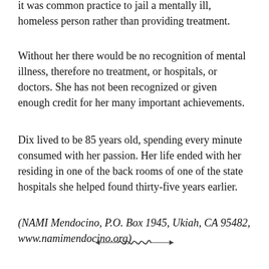it was common practice to jail a mentally ill, homeless person rather than providing treatment.
Without her there would be no recognition of mental illness, therefore no treatment, or hospitals, or doctors. She has not been recognized or given enough credit for her many important achievements.
Dix lived to be 85 years old, spending every minute consumed with her passion. Her life ended with her residing in one of the back rooms of one of the state hospitals she helped found thirty-five years earlier.
(NAMI Mendocino, P.O. Box 1945, Ukiah, CA 95482, www.namimendocino.org)
[Figure (illustration): Decorative divider ornament with scrollwork and arrow-like ends]